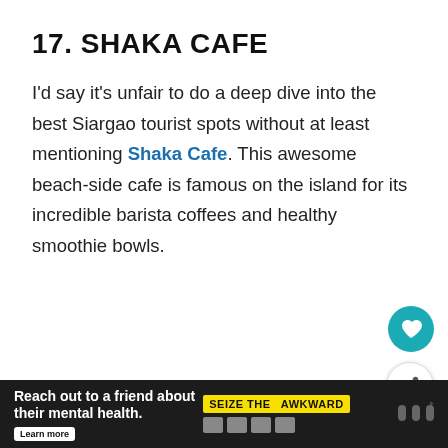17. SHAKA CAFE
I'd say it's unfair to do a deep dive into the best Siargao tourist spots without at least mentioning Shaka Cafe. This awesome beach-side cafe is famous on the island for its incredible barista coffees and healthy smoothie bowls.
[Figure (other): Teal circular heart/favorite button and white circular share button, floating on right side of page]
Reach out to a friend about their mental health. Learn more | SEIZE THE AWKWARD